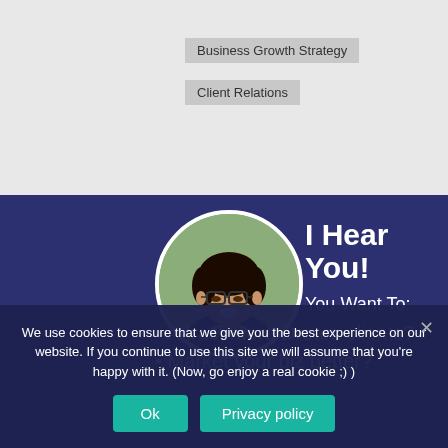Business Growth Strategy
Client Relations
[Figure (photo): Circular profile photo of a smiling woman with dark curly hair and glasses, wearing a black top and pearl necklace]
I Hear You!
You Want To:
• Attract more Dream clients?
• Market your biz better?
We use cookies to ensure that we give you the best experience on our website. If you continue to use this site we will assume that you're happy with it. (Now, go enjoy a real cookie ;) )
Ok
Privacy policy